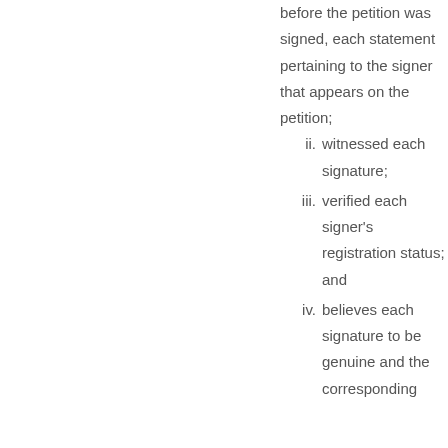before the petition was signed, each statement pertaining to the signer that appears on the petition;
ii. witnessed each signature;
iii. verified each signer's registration status; and
iv. believes each signature to be genuine and the corresponding